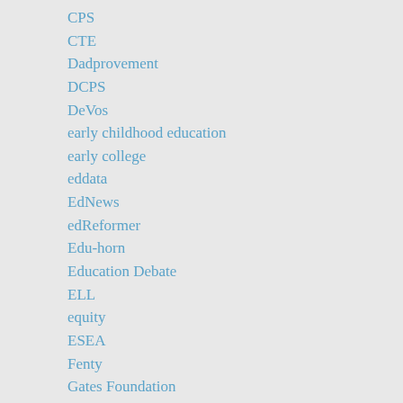CPS
CTE
Dadprovement
DCPS
DeVos
early childhood education
early college
eddata
EdNews
edReformer
Edu-horn
Education Debate
ELL
equity
ESEA
Fenty
Gates Foundation
Green Dot
High School
high-stakes testing